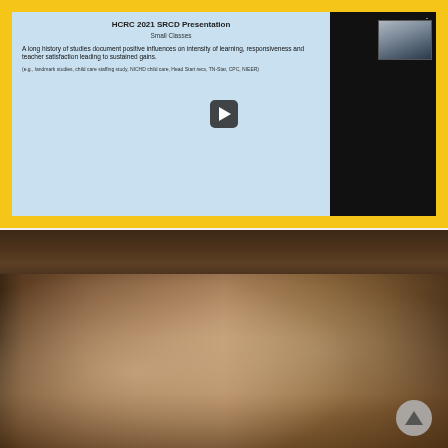[Figure (screenshot): Video screenshot of HCRC 2021 SRCD Presentation slide about Small Classes. The slide (on blue background) reads: 'A long history of studies document positive influences on intensity of learning, responsiveness and teacher satisfaction leading to sustained gains.' with footnote '(e.g., landmark studies, child care staffing study, NICHD child care, Head Start recs, TN-Star, CPC, NIEER)'. A play button is overlaid. A small picture-in-picture of a presenter (man) appears top right. Yellow border surrounds the video player.]
[Figure (photo): Classroom photograph showing a smiling female teacher leaning over a table reading with several young children (diverse group). Classroom setting with cubbies, desks visible in background.]